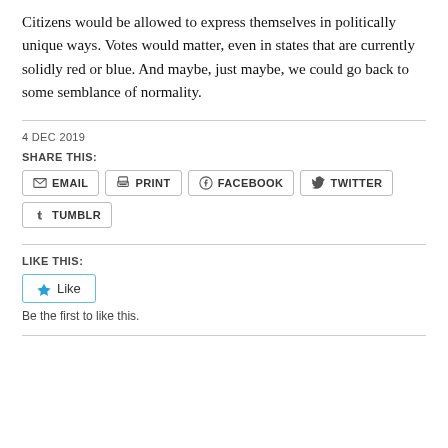Citizens would be allowed to express themselves in politically unique ways. Votes would matter, even in states that are currently solidly red or blue. And maybe, just maybe, we could go back to some semblance of normality.
4 DEC 2019
SHARE THIS:
EMAIL
PRINT
FACEBOOK
TWITTER
TUMBLR
LIKE THIS:
Like
Be the first to like this.